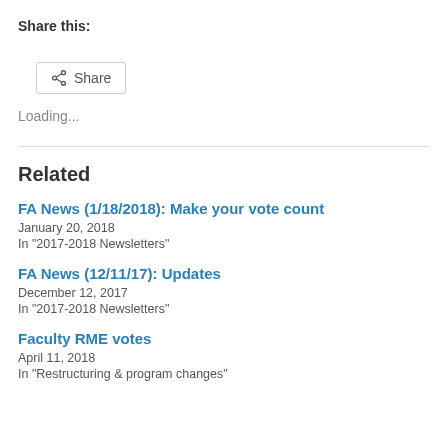Share this:
[Figure (other): Share button with share icon]
Loading...
Related
FA News (1/18/2018): Make your vote count
January 20, 2018
In "2017-2018 Newsletters"
FA News (12/11/17): Updates
December 12, 2017
In "2017-2018 Newsletters"
Faculty RME votes
April 11, 2018
In "Restructuring & program changes"